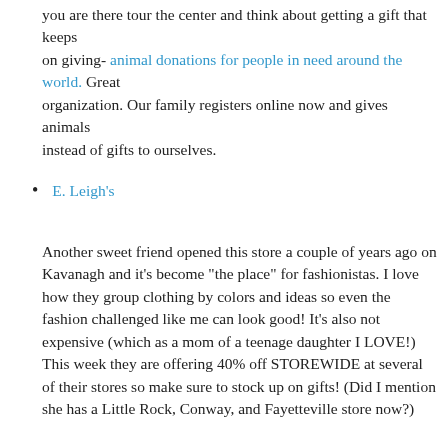you are there tour the center and think about getting a gift that keeps on giving- animal donations for people in need around the world. Great organization. Our family registers online now and gives animals instead of gifts to ourselves.
E. Leigh's
Another sweet friend opened this store a couple of years ago on Kavanagh and it's become "the place" for fashionistas. I love how they group clothing by colors and ideas so even the fashion challenged like me can look good! It's also not expensive (which as a mom of a teenage daughter I LOVE!) This week they are offering 40% off STOREWIDE at several of their stores so make sure to stock up on gifts! (Did I mention she has a Little Rock, Conway, and Fayetteville store now?)